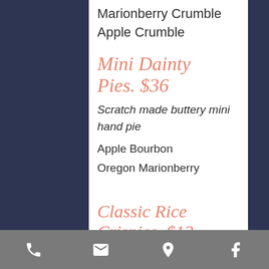Marionberry Crumble
Apple Crumble
Mini Dainty Pies. $36
Scratch made buttery mini hand pie
Apple Bourbon
Oregon Marionberry
Classic Rice Crispies. $12